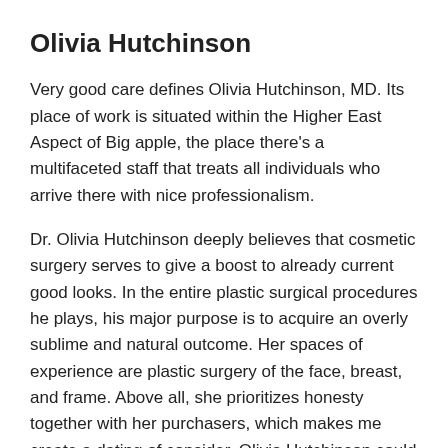Olivia Hutchinson
Very good care defines Olivia Hutchinson, MD. Its place of work is situated within the Higher East Aspect of Big apple, the place there’s a multifaceted staff that treats all individuals who arrive there with nice professionalism.
Dr. Olivia Hutchinson deeply believes that cosmetic surgery serves to give a boost to already current good looks. In the entire plastic surgical procedures he plays, his major purpose is to acquire an overly sublime and natural outcome. Her spaces of experience are plastic surgery of the face, breast, and frame. Above all, she prioritizes honesty together with her purchasers, which makes me create a dating of consider. Olivia Hutchinson could also be a speaker and revealed creator.
Actually, the sphere of surgical operation continues to be